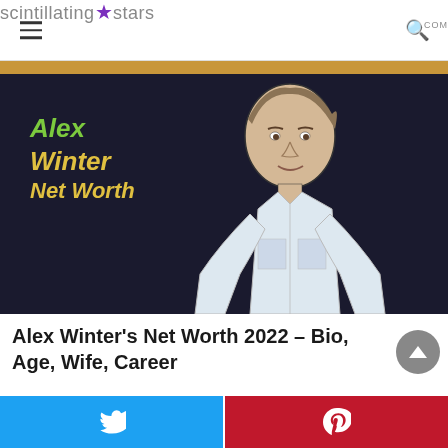scintillating★stars.com
[Figure (illustration): Sketch/cartoon illustration of Alex Winter on dark background with text 'Alex Winter Net Worth']
Alex Winter's Net Worth 2022 – Bio, Age, Wife, Career